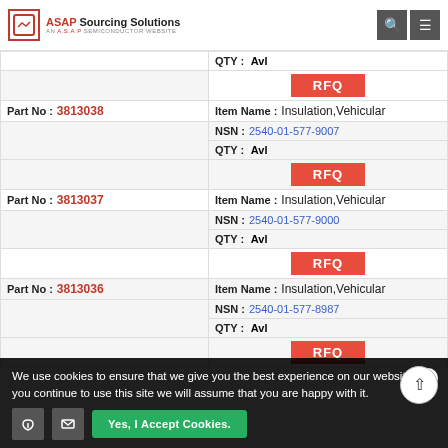ASAP Sourcing Solutions - AN A.S.A.P SEMICONDUCTOR WEBSITE
| Part No | Item Info |
| --- | --- |
|  | QTY: Avl |
|  | RFQ |
| Part No: 3813038 | Item Name: Insulation,Vehicular |
|  | NSN: 2540-01-577-9007 |
|  | QTY: Avl |
|  | RFQ |
| Part No: 3813037 | Item Name: Insulation,Vehicular |
|  | NSN: 2540-01-577-9000 |
|  | QTY: Avl |
|  | RFQ |
| Part No: 3813036 | Item Name: Insulation,Vehicular |
|  | NSN: 2540-01-577-8987 |
|  | QTY: Avl |
|  | RFQ |
We use cookies to ensure that we give you the best experience on our website. If you continue to use this site we will assume that you are happy with it.